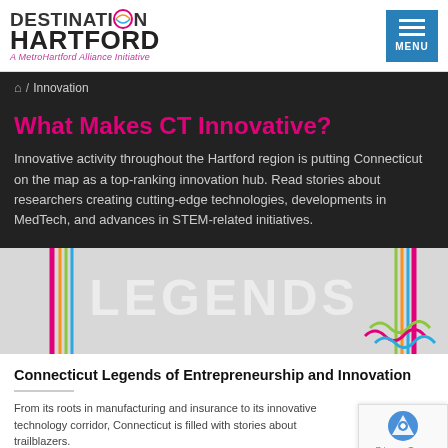Destination Hartford — A MetroHartford Alliance Initiative
/ Innovation
What Makes CT Innovative?
Innovative activity throughout the Hartford region is putting Connecticut on the map as a top-ranking innovation hub. Read stories about researchers creating cutting-edge technologies, developments in MedTech, and advances in STEM-related initiatives.
[Figure (illustration): Banner image showing the word LEGENDS in large white text over a light grey background with colorful diagonal lines on both sides (pink, yellow, green, teal)]
Connecticut Legends of Entrepreneurship and Innovation
From its roots in manufacturing and insurance to its innovative technology corridor, Connecticut is filled with stories about trailblazers.